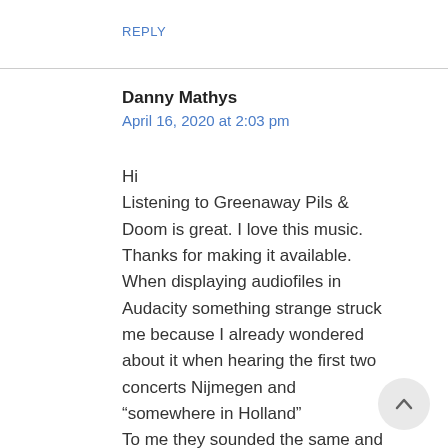REPLY
Danny Mathys
April 16, 2020 at 2:03 pm
Hi
Listening to Greenaway Pils & Doom is great. I love this music. Thanks for making it available.
When displaying audiofiles in Audacity something strange struck me because I already wondered about it when hearing the first two concerts Nijmegen and “somewhere in Holland”
To me they sounded the same and visu in audiofile they look the same; I canno image improvisers of this calibre play